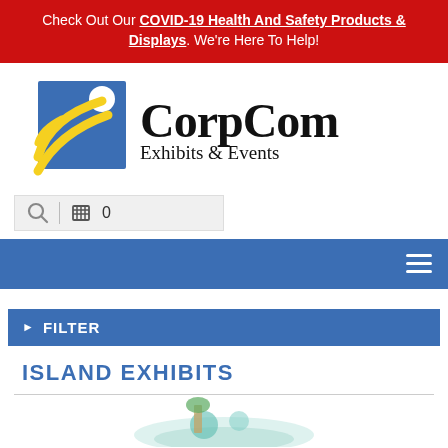Check Out Our COVID-19 Health And Safety Products & Displays. We're Here To Help!
[Figure (logo): CorpCom Exhibits & Events logo: blue square with white circle and yellow swoosh lines on left, bold black text 'CorpCom' and 'Exhibits & Events' on right]
[Figure (screenshot): Search bar and cart icon with count 0]
[Figure (screenshot): Blue navigation bar with hamburger menu icon on right]
FILTER
ISLAND EXHIBITS
[Figure (photo): Partial view of exhibit display at bottom of page]